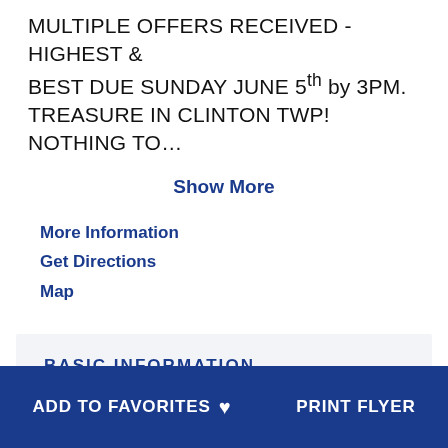MULTIPLE OFFERS RECEIVED - HIGHEST & BEST DUE SUNDAY JUNE 5th by 3PM. TREASURE IN CLINTON TWP! NOTHING TO...
Show More
More Information
Get Directions
Map
BASIC INFORMATION
SCHOOLS
ADD TO FAVORITES ♥   PRINT FLYER